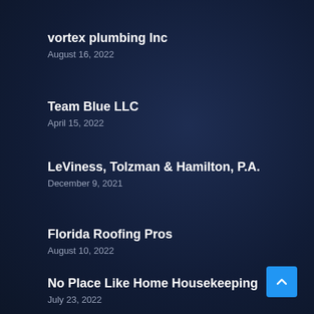vortex plumbing Inc
August 16, 2022
Team Blue LLC
April 15, 2022
LeViness, Tolzman & Hamilton, P.A.
December 9, 2021
Florida Roofing Pros
August 10, 2022
No Place Like Home Housekeeping
July 23, 2022